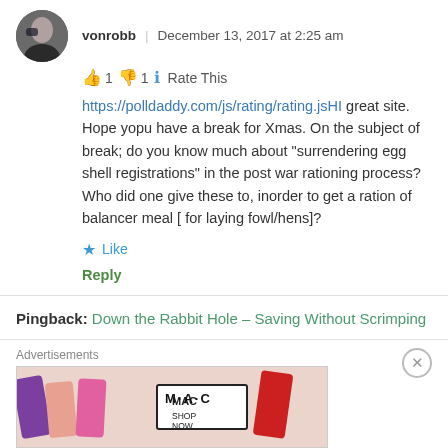[Figure (photo): Avatar photo of user vonrobb — person in dark clothing]
vonrobb | December 13, 2017 at 2:25 am
👍 1 👎 1 ℹ Rate This
https://polldaddy.com/js/rating/rating.jsHI great site. Hope yopu have a break for Xmas. On the subject of break; do you know much about "surrendering egg shell registrations" in the post war rationing process? Who did one give these to, inorder to get a ration of balancer meal [ for laying fowl/hens]?
★ Like
Reply
Pingback: Down the Rabbit Hole – Saving Without Scrimping
Advertisements
[Figure (photo): MAC cosmetics advertisement banner with lipsticks and SHOP NOW text]